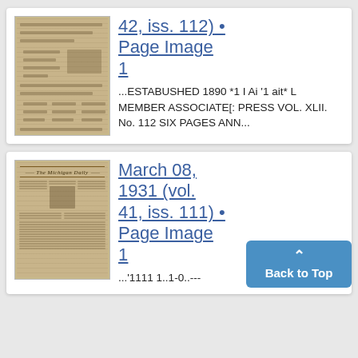[Figure (photo): Thumbnail image of an old newspaper page (yellowish/sepia toned), top card]
42, iss. 112) • Page Image 1
...ESTABUSHED 1890 *1 I Ai '1 ait* L MEMBER ASSOCIATE[: PRESS VOL. XLII. No. 112 SIX PAGES ANN...
[Figure (photo): Thumbnail image of The Michigan Daily newspaper front page, sepia toned, bottom card]
March 08, 1931 (vol. 41, iss. 111) • Page Image 1
...'1111 1..1-0..---